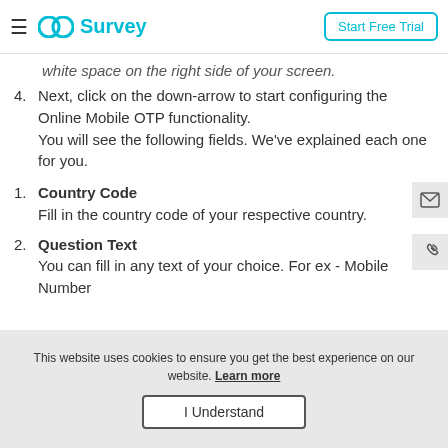GO Survey | Start Free Trial
white space on the right side of your screen.
4. Next, click on the down-arrow to start configuring the Online Mobile OTP functionality. You will see the following fields. We've explained each one for you.
1. Country Code
Fill in the country code of your respective country.
2. Question Text
You can fill in any text of your choice. For ex - Mobile Number
This website uses cookies to ensure you get the best experience on our website. Learn more
I Understand